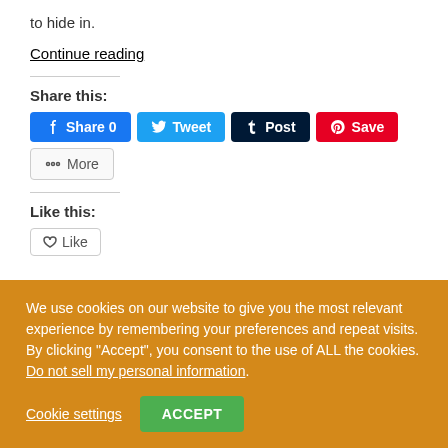to hide in.
Continue reading
Share this:
[Figure (other): Social share buttons: Facebook Share 0, Tweet, Tumblr Post, Pinterest Save, More]
Like this:
We use cookies on our website to give you the most relevant experience by remembering your preferences and repeat visits. By clicking "Accept", you consent to the use of ALL the cookies. Do not sell my personal information.
Cookie settings
ACCEPT